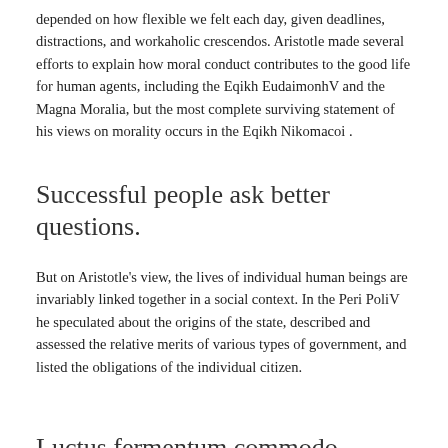depended on how flexible we felt each day, given deadlines, distractions, and workaholic crescendos. Aristotle made several efforts to explain how moral conduct contributes to the good life for human agents, including the Eqikh EudaimonhV and the Magna Moralia, but the most complete surviving statement of his views on morality occurs in the Eqikh Nikomacoi .
Successful people ask better questions.
But on Aristotle's view, the lives of individual human beings are invariably linked together in a social context. In the Peri PoliV he speculated about the origins of the state, described and assessed the relative merits of various types of government, and listed the obligations of the individual citizen.
Luctus fermentum commodo
Working from home meant we could vary snack and coffee breaks, change our desks or view, goof off, drink on the job, even end the day in pajamas, and often meet to gossip or…